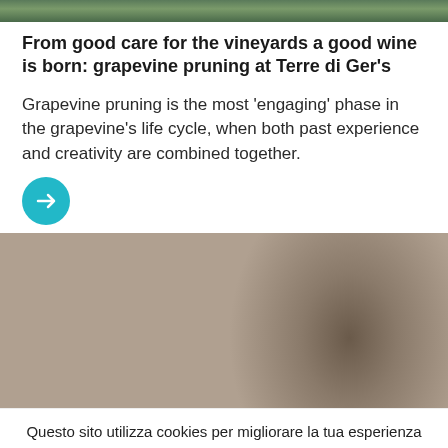[Figure (photo): Top strip showing partial vineyard/outdoor image at the top of the page]
From good care for the vineyards a good wine is born: grapevine pruning at Terre di Ger’s
Grapevine pruning is the most ‘engaging’ phase in the grapevine’s life cycle, when both past experience and creativity are combined together.
[Figure (illustration): Teal circular arrow button linking to article]
[Figure (photo): Two men in a restaurant kitchen setting with food flying between them, warm wooden wall background]
Questo sito utilizza cookies per migliorare la tua esperienza di navigazione. Se non sei d’accordo puoi rifiutare i cookies.
IMPOSTAZIONI   ACCETTA